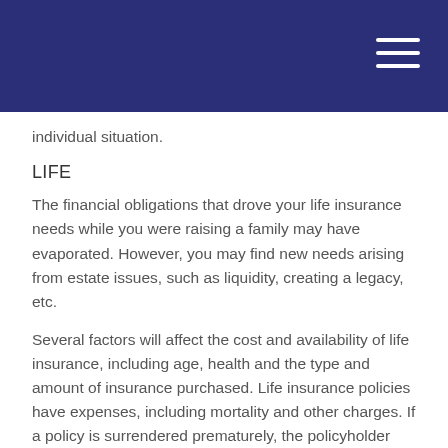individual situation.
LIFE
The financial obligations that drove your life insurance needs while you were raising a family may have evaporated. However, you may find new needs arising from estate issues, such as liquidity, creating a legacy, etc.
Several factors will affect the cost and availability of life insurance, including age, health and the type and amount of insurance purchased. Life insurance policies have expenses, including mortality and other charges. If a policy is surrendered prematurely, the policyholder also may pay surrender charges and have income tax implications. You should consider determining whether you are insurable before implementing a strategy involving life insurance. Any guarantees associated with a policy are dependent on